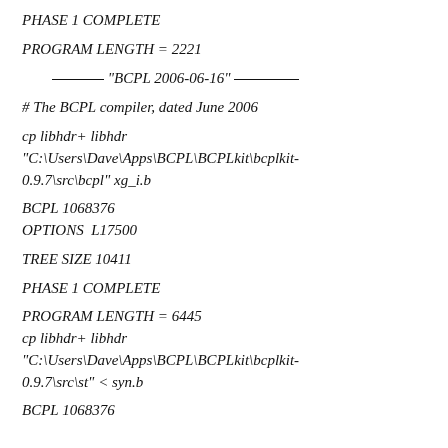PHASE 1 COMPLETE
PROGRAM LENGTH = 2221
________ "BCPL 2006-06-16" _________
# The BCPL compiler, dated June 2006
cp libhdr+ libhdr
"C:\Users\Dave\Apps\BCPL\BCPLkit\bcplkit-0.9.7\src\bcpl" xg_i.b
BCPL 1068376
OPTIONS  L17500
TREE SIZE 10411
PHASE 1 COMPLETE
PROGRAM LENGTH = 6445
cp libhdr+ libhdr
"C:\Users\Dave\Apps\BCPL\BCPLkit\bcplkit-0.9.7\src\st" < syn.b
BCPL 1068376